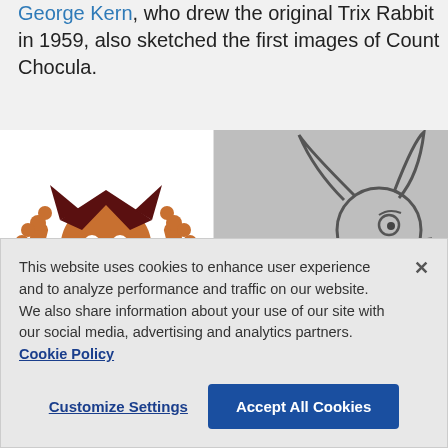George Kern, who drew the original Trix Rabbit in 1959, also sketched the first images of Count Chocula.
[Figure (illustration): Two-panel image: left panel shows a colorful cartoon illustration of Count Chocula (a vampire-like character in a brown cape with orange face and hands raised); right panel shows a black-and-white sketch of the Trix Rabbit standing next to a Trix cereal box.]
This website uses cookies to enhance user experience and to analyze performance and traffic on our website. We also share information about your use of our site with our social media, advertising and analytics partners. Cookie Policy
Customize Settings   Accept All Cookies